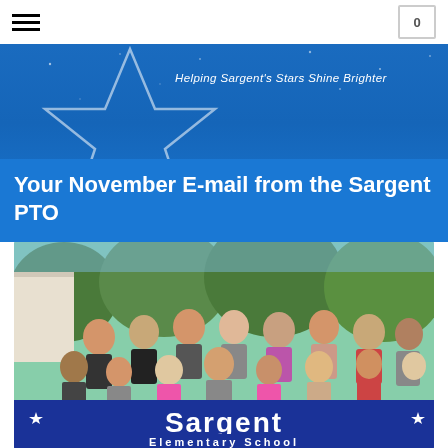☰  0
[Figure (illustration): Blue banner with star graphic and tagline 'Helping Sargent's Stars Shine Brighter' for Sargent PTO]
Your November E-mail from the Sargent PTO
[Figure (photo): Group photo of parents and children outdoors holding a blue Sargent Elementary School banner with stars]